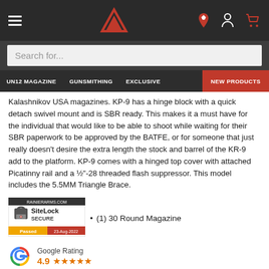Navigation header with hamburger menu, Rainier Arms logo, location pin, account, and cart icons
Search for...
UN12 MAGAZINE | GUNSMITHING | EXCLUSIVE | NEW PRODUCTS
Kalashnikov USA magazines. KP-9 has a hinge block with a quick detach swivel mount and is SBR ready. This makes it a must have for the individual that would like to be able to shoot while waiting for their SBR paperwork to be approved by the BATFE, or for someone that just really doesn't desire the extra length the stock and barrel of the KR-9 add to the platform. KP-9 comes with a hinged top cover with attached Picatinny rail and a ½"-28 threaded flash suppressor. This model includes the 5.5MM Triangle Brace.
[Figure (logo): SiteLock SECURE badge from RAINIERARMS.COM, Passed 23-Aug-2022]
(1) 30 Round Magazine
[Figure (logo): Google G logo multicolor]
Google Rating
4.9 ★★★★★
Barrel Length: 9.25"